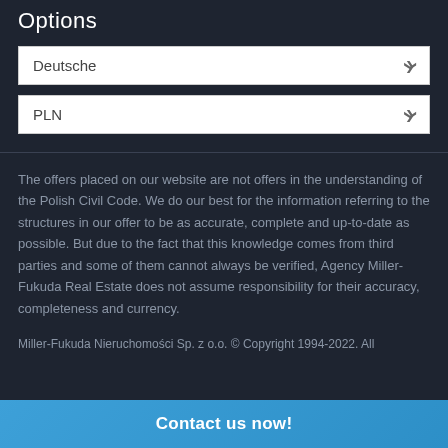Options
Deutsche
PLN
The offers placed on our website are not offers in the understanding of the Polish Civil Code. We do our best for the information referring to the structures in our offer to be as accurate, complete and up-to-date as possible. But due to the fact that this knowledge comes from third parties and some of them cannot always be verified, Agency Miller-Fukuda Real Estate does not assume responsibility for their accuracy, completeness and currency.
Miller-Fukuda Nieruchomości Sp. z o.o. © Copyright 1994-2022. All…
Contact us now!